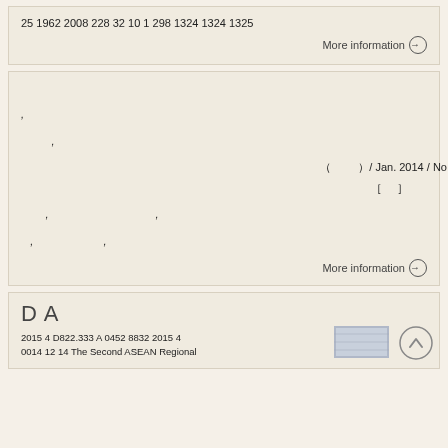25 1962 2008 228 32 10 1298 1324 1324 1325
More information →
( ) / Jan. 2014 / No. 1
[ ]
[Figure (photo): Portrait photo of a person in dark clothing with flowers]
More information →
D A
2015 4 D822.333 A 0452 8832 2015 4
0014 12 14 The Second ASEAN Regional